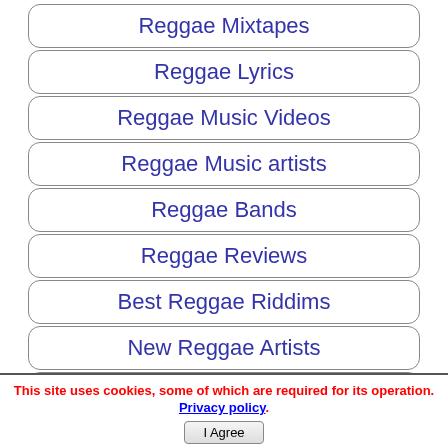Reggae Mixtapes
Reggae Lyrics
Reggae Music Videos
Reggae Music artists
Reggae Bands
Reggae Reviews
Best Reggae Riddims
New Reggae Artists
Top Reggae Artists List
Top Reggae Music Band (partial)
This site uses cookies, some of which are required for its operation. Privacy policy. I Agree